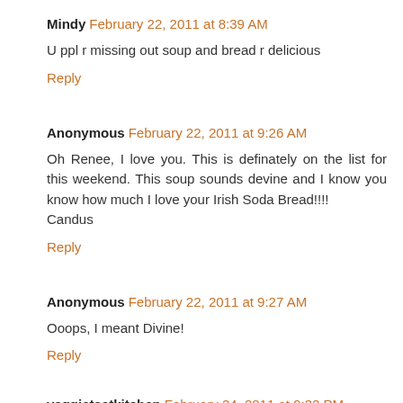Mindy February 22, 2011 at 8:39 AM
U ppl r missing out soup and bread r delicious
Reply
Anonymous February 22, 2011 at 9:26 AM
Oh Renee, I love you. This is definately on the list for this weekend. This soup sounds devine and I know you know how much I love your Irish Soda Bread!!!!
Candus
Reply
Anonymous February 22, 2011 at 9:27 AM
Ooops, I meant Divine!
Reply
veggietsetkitchen February 24, 2011 at 9:32 PM